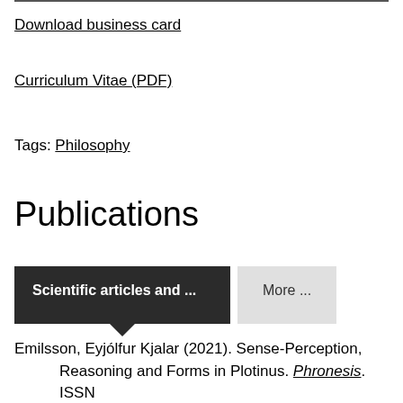Download business card
Curriculum Vitae (PDF)
Tags: Philosophy
Publications
Scientific articles and ...
More ...
Emilsson, Eyjólfur Kjalar (2021). Sense-Perception, Reasoning and Forms in Plotinus. Phronesis. ISSN 0031-8868. p. 1–22.